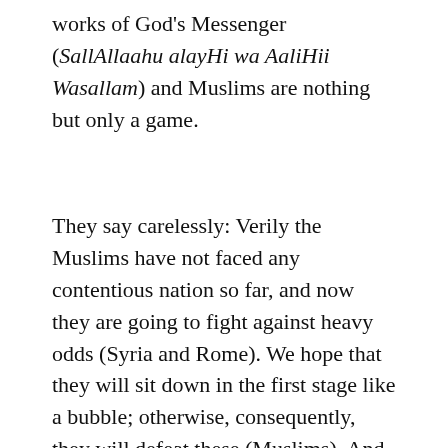works of God's Messenger (SallAllaahu alayHi wa AaliHii Wasallam) and Muslims are nothing but only a game.
They say carelessly: Verily the Muslims have not faced any contentious nation so far, and now they are going to fight against heavy odds (Syria and Rome). We hope that they will sit down in the first stage like a bubble; otherwise, consequently, they will defeat these (Muslims). And it will not take too much time because they (the Syrians) have conquered the world. How can they (Muslims) succeed against them? Suppose, if they succeeded, then how many days? Against them, in this verse, condition of the supporters of Islam has been narrated, who do not hesitate